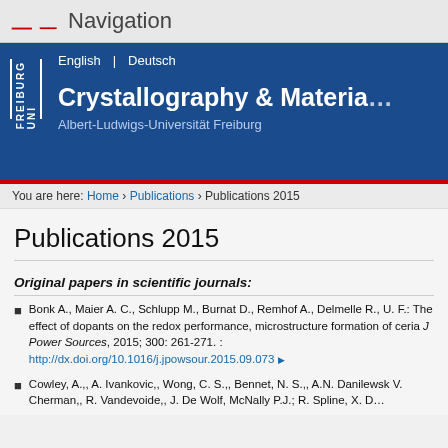Navigation
[Figure (logo): UNI FREIBURG logo with blue background, white text, with language links English | Deutsch and site title Crystallography & Materia... Albert-Ludwigs-Universität Freiburg]
You are here: Home › Publications › Publications 2015
Publications 2015
Original papers in scientific journals:
Bonk A., Maier A. C., Schlupp M., Burnat D., Remhof A., Delmelle R., U. F.: The effect of dopants on the redox performance, microstructure formation of ceria J Power Sources, 2015; 300: 261-271. : http://dx.doi.org/10.1016/j.jpowsour.2015.09.073
Cowley, A.,, A. Ivankovic,, Wong, C. S.,, Bennet, N. S.,, A.N. Danilewsk V. Cherman,, R. Vandevoide,, J. De Wolf, McNally P.J.; R. Spline, X. D...